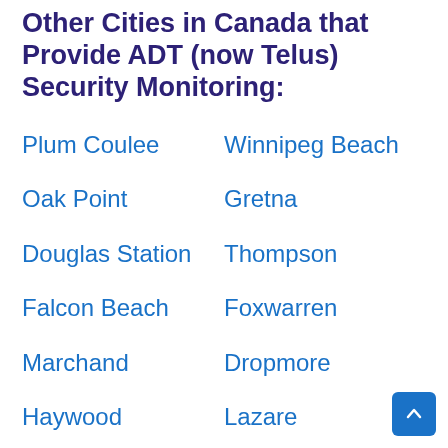Other Cities in Canada that Provide ADT (now Telus) Security Monitoring:
Plum Coulee
Winnipeg Beach
Oak Point
Gretna
Douglas Station
Thompson
Falcon Beach
Foxwarren
Marchand
Dropmore
Haywood
Lazare